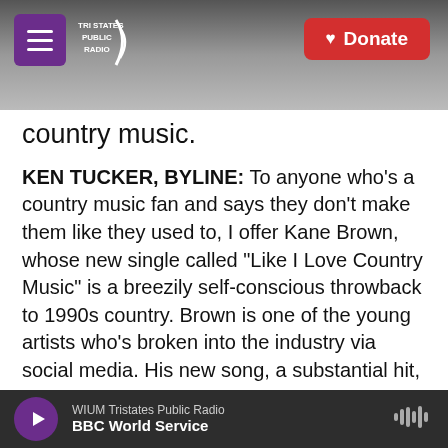Tri States Public Radio — Donate
country music.
KEN TUCKER, BYLINE: To anyone who's a country music fan and says they don't make them like they used to, I offer Kane Brown, whose new single called "Like I Love Country Music" is a breezily self-conscious throwback to 1990s country. Brown is one of the young artists who's broken into the industry via social media. His new song, a substantial hit, operates like an old-fashioned novelty tune, wedging the names of veteran country stars like Johnny Cash, Alan Jackson and Brooks & Dunn into its lyric. This plus Brown's
WIUM Tristates Public Radio — BBC World Service